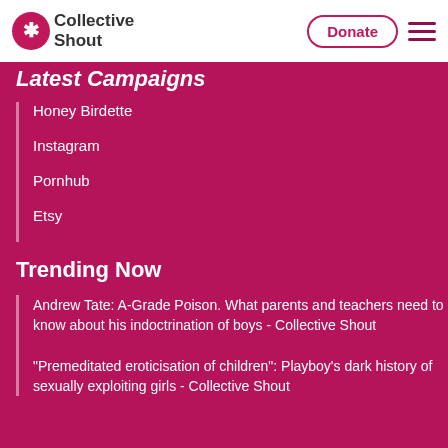Collective Shout | Donate | menu
Latest Campaigns
Honey Birdette
Instagram
Pornhub
Etsy
Trending Now
Andrew Tate: A-Grade Poison. What parents and teachers need to know about his indoctrination of boys - Collective Shout
“Premeditated eroticisation of children”: Playboy’s dark history of sexually exploiting girls - Collective Shout